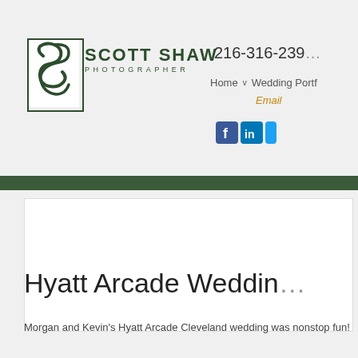[Figure (logo): Scott Shaw Photographer logo with stylized 'S' lettermark in a square border and text 'SCOTT SHAW PHOTOGRAPHER']
216-316-239... Home v Wedding Portf... Email
[Figure (other): Social media icons: Facebook, LinkedIn, and one more partially visible]
[Figure (photo): Large white/blank image placeholder area]
Hyatt Arcade Weddin...
Morgan and Kevin's Hyatt Arcade Cleveland wedding was nonstop fun!